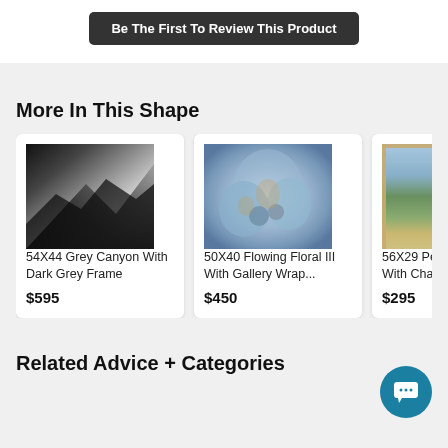Be The First To Review This Product
More In This Shape
[Figure (photo): 54X44 Grey Canyon With Dark Grey Frame - black and white abstract canyon art]
54X44 Grey Canyon With Dark Grey Frame
$595
[Figure (photo): 50X40 Flowing Floral III With Gallery Wrap - blue floral painting with gold accents]
50X40 Flowing Floral III With Gallery Wrap...
$450
[Figure (photo): 56X29 Partial landscape painting with champagne frame]
56X29 Peac... With Cham...
$295
Related Advice + Categories